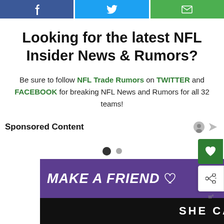Social share bar: Facebook, Twitter, Email
Looking for the latest NFL Insider News & Rumors?
Be sure to follow NFL Trade Rumors on TWITTER and FACEBOOK for breaking NFL News and Rumors for all 32 teams!
Sponsored Content
[Figure (other): Carousel navigation dots - one filled dark dot and one smaller grey dot]
[Figure (other): Advertisement banner: MAKE A FRIEND with dog image on purple background, SHE CAN STEM on dark background]
[Figure (other): Floating right-side action buttons: green save button with heart icon, white share button with share icon]